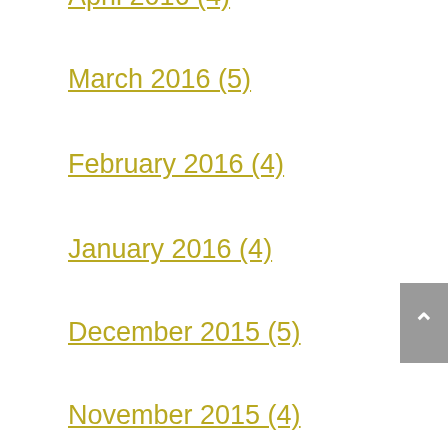April 2016 (4)
March 2016 (5)
February 2016 (4)
January 2016 (4)
December 2015 (5)
November 2015 (4)
October 2015 (5)
September 2015 (4)
August 2015 (4)
July 2015 (5)